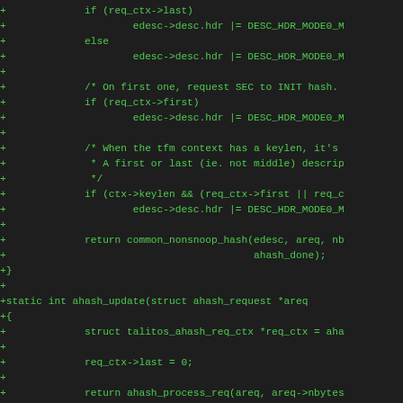[Figure (screenshot): Source code diff view showing C code additions (green lines with + prefix) for hash processing functions including ahash_process_req, ahash_update, ahash_final in a kernel crypto driver (talitos). Lines show conditional logic for req_ctx->last, req_ctx->first, ctx->keylen, descriptor header mode flags, and function calls like common_nonsnoop_hash and ahash_process_req.]